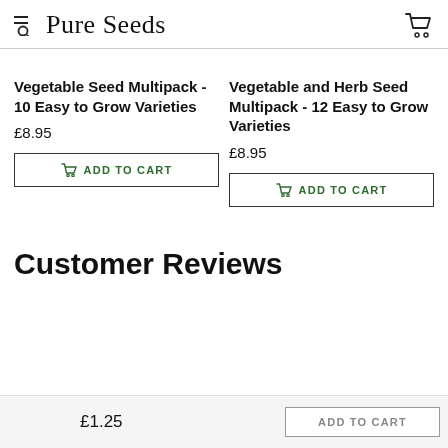Pure Seeds
Vegetable Seed Multipack - 10 Easy to Grow Varieties
£8.95
ADD TO CART
Vegetable and Herb Seed Multipack - 12 Easy to Grow Varieties
£8.95
ADD TO CART
Customer Reviews
£1.25
ADD TO CART